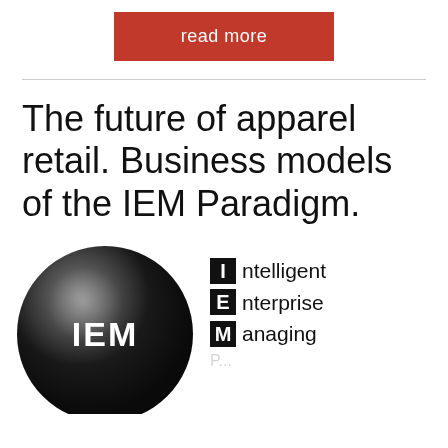read more
The future of apparel retail. Business models of the IEM Paradigm.
[Figure (illustration): A black glossy sphere with 'IEM' text in white on it, alongside an acronym breakdown: I = Intelligent, E = Enterprise, M = Managing, followed by partially visible text below.]